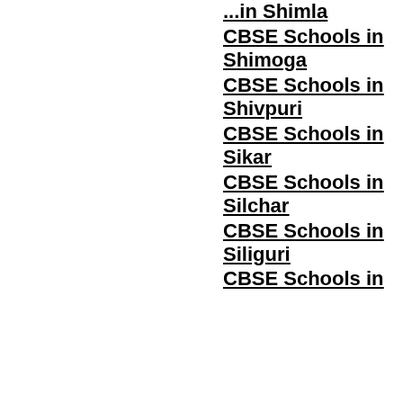CBSE Schools in Shimla
CBSE Schools in Shimoga
CBSE Schools in Shivpuri
CBSE Schools in Sikar
CBSE Schools in Silchar
CBSE Schools in Siliguri
CBSE Schools in